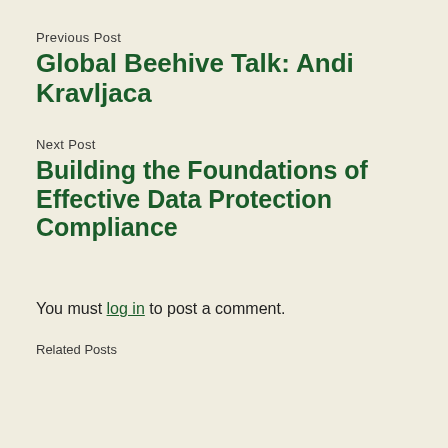Previous Post
Global Beehive Talk: Andi Kravljaca
Next Post
Building the Foundations of Effective Data Protection Compliance
You must log in to post a comment.
Related Posts